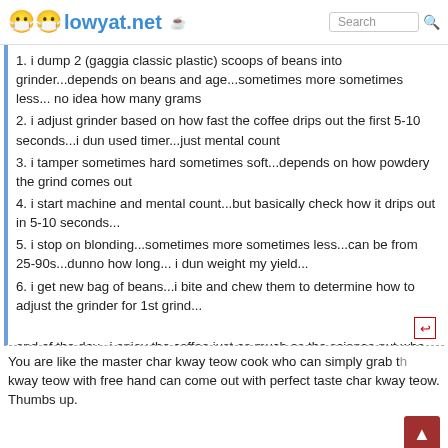lowyat.net | Search
1. i dump 2 (gaggia classic plastic) scoops of beans into grinder...depends on beans and age...sometimes more sometimes less... no idea how many grams
2. i adjust grinder based on how fast the coffee drips out the first 5-10 seconds...i dun used timer...just mental count
3. i tamper sometimes hard sometimes soft...depends on how powdery the grind comes out
4. i start machine and mental count...but basically check how it drips out in 5-10 seconds...
5. i stop on blonding...sometimes more sometimes less...can be from 25-90s...dunno how long... i dun weight my yield...
6. i get new bag of beans...i bite and chew them to determine how to adjust the grinder for 1st grind...
end of the day...i enjoy the coffee just as much as the science nut who tries to perfect every step of the way ... 👍😊👍
You are like the master char kway teow cook who can simply grab the kway teow with free hand can come out with perfect taste char kway teow. Thumbs up.